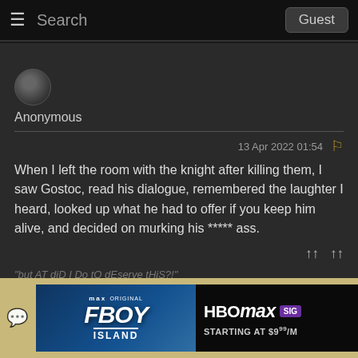Search   Guest
[Figure (other): User avatar circle icon (dark, silhouette)]
Anonymous
13 Apr 2022 01:54
When I left the room with the knight after killing them, I saw Gostoc, read his dialogue, remembered the laughter I heard, looked up what he had to offer if you keep him alive, and decided on murking his ***** ass.
[Figure (screenshot): HBO Max ad banner featuring FBOY Island — Starting at $9/M]
FBOY ISLAND — HBO max STARTING AT $9/M